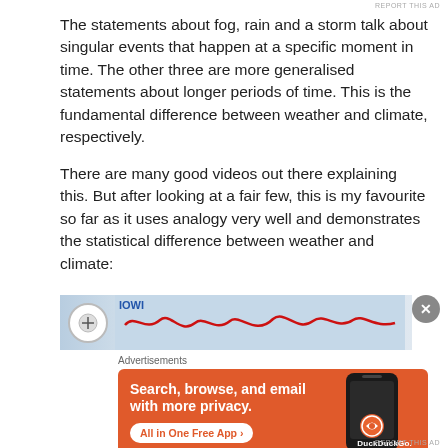REPORT THIS AD
The statements about fog, rain and a storm talk about singular events that happen at a specific moment in time. The other three are more generalised statements about longer periods of time. This is the fundamental difference between weather and climate, respectively.
There are many good videos out there explaining this. But after looking at a fair few, this is my favourite so far as it uses analogy very well and demonstrates the statistical difference between weather and climate:
[Figure (screenshot): Partial screenshot of a video thumbnail showing a wavy red line chart on a light blue background with a circular icon/logo on the left and some text.]
Advertisements
[Figure (illustration): DuckDuckGo advertisement banner with orange background. Text reads: Search, browse, and email with more privacy. All in One Free App. Shows a smartphone with DuckDuckGo logo.]
REPORT THIS AD